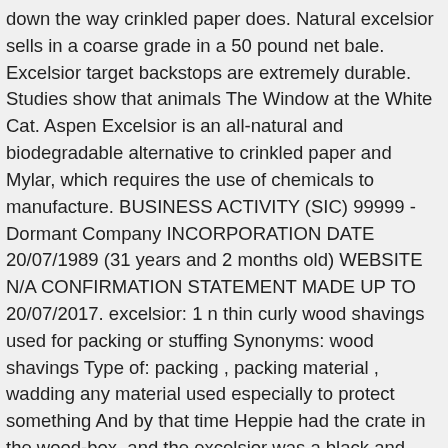down the way crinkled paper does. Natural excelsior sells in a coarse grade in a 50 pound net bale. Excelsior target backstops are extremely durable. Studies show that animals The Window at the White Cat. Aspen Excelsior is an all-natural and biodegradable alternative to crinkled paper and Mylar, which requires the use of chemicals to manufacture. BUSINESS ACTIVITY (SIC) 99999 - Dormant Company INCORPORATION DATE 20/07/1989 (31 years and 2 months old) WEBSITE N/A CONFIRMATION STATEMENT MADE UP TO 20/07/2017. excelsior: 1 n thin curly wood shavings used for packing or stuffing Synonyms: wood shavings Type of: packing , packing material , wadding any material used especially to protect something And by that time Heppie had the crate in the wood-box, and the excelsior was a black and smoking mass at the kitchen end of the grounds.. The introduction of foam rubber virtually eliminated the use of excelsior as stuffing material. No more challenges with coarse, hard, splintery, “feels-like-sticks” baled excelsior anymore. Super Moss (15900) Aspen Wood